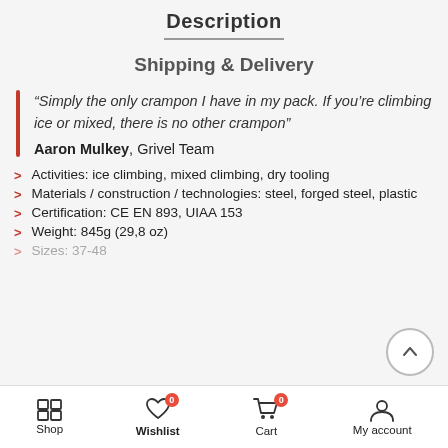Description
Shipping & Delivery
“Simply the only crampon I have in my pack. If you’re climbing ice or mixed, there is no other crampon”
Aaron Mulkey, Grivel Team
Activities: ice climbing, mixed climbing, dry tooling
Materials / construction / technologies: steel, forged steel, plastic
Certification: CE EN 893, UIAA 153
Weight: 845g (29,8 oz)
Sizes: 37-48
Shop  Wishlist 0  Cart 0  My account